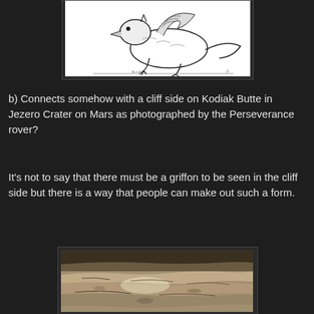[Figure (illustration): Black and white illustration of a griffon (mythical creature with eagle head and lion body), drawn in classic engraving style.]
b)  Connects somehow with a cliff side on Kodiak Butte in Jezero Crater on Mars as photographed by the Perseverance rover?
It's not to say that there must be a griffon to be seen in the cliff side but there is a way that people can make out such a form.
[Figure (photo): Photograph of a rocky cliff side on Kodiak Butte in Jezero Crater on Mars, taken by the Perseverance rover, showing layered rocky formations.]